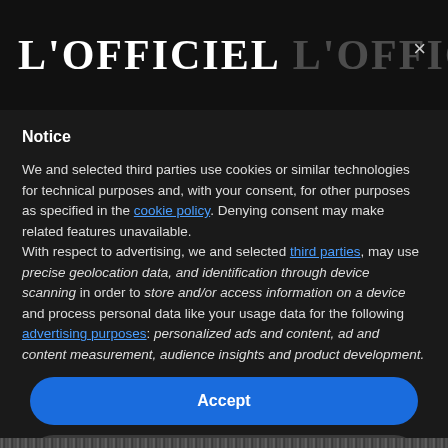L'OFFICIEL
Notice
We and selected third parties use cookies or similar technologies for technical purposes and, with your consent, for other purposes as specified in the cookie policy. Denying consent may make related features unavailable.
With respect to advertising, we and selected third parties, may use precise geolocation data, and identification through device scanning in order to store and/or access information on a device and process personal data like your usage data for the following advertising purposes: personalized ads and content, ad and content measurement, audience insights and product development.
Accept
Learn more and customize